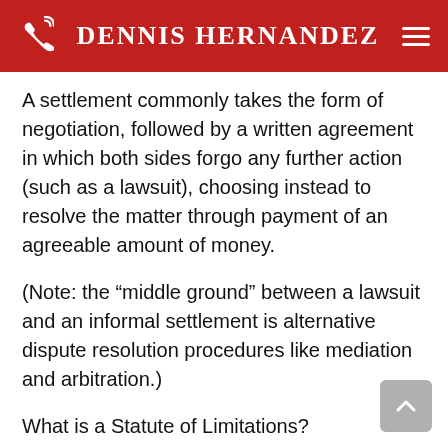Dennis Hernandez
A settlement commonly takes the form of negotiation, followed by a written agreement in which both sides forgo any further action (such as a lawsuit), choosing instead to resolve the matter through payment of an agreeable amount of money.
(Note: the “middle ground” between a lawsuit and an informal settlement is alternative dispute resolution procedures like mediation and arbitration.)
What is a Statute of Limitations?